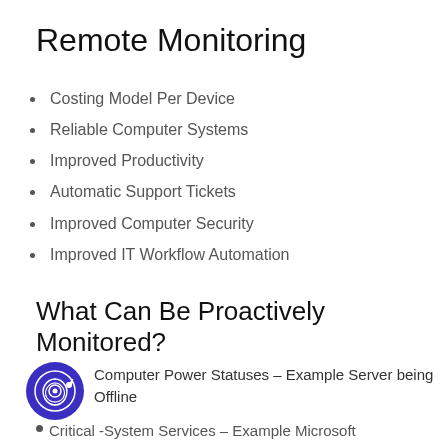Remote Monitoring
Costing Model Per Device
Reliable Computer Systems
Improved Productivity
Automatic Support Tickets
Improved Computer Security
Improved IT Workflow Automation
What Can Be Proactively Monitored?
[Figure (logo): Dark blue circle with fingerprint icon]
Computer Power Statuses – Example Server being Offline
Critical -System Services – Example Microsoft